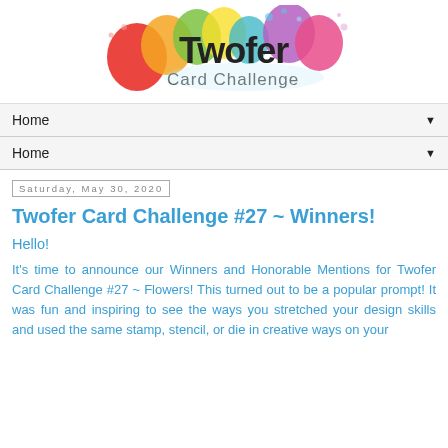[Figure (logo): Twofer Card Challenge logo with colorful balloons and stylized text]
Home ▼
Home ▼
Saturday, May 30, 2020
Twofer Card Challenge #27 ~ Winners!
Hello!
It's time to announce our Winners and Honorable Mentions for Twofer Card Challenge #27 ~ Flowers! This turned out to be a popular prompt! It was fun and inspiring to see the ways you stretched your design skills and used the same stamp, stencil, or die in creative ways on your